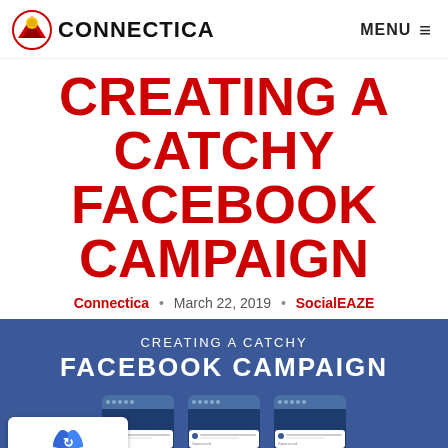CONNECTICA  MENU
CREATING A CATCHY FACEBOOK CAMPAIGN
Connectica • March 22, 2019 • SocialEAZE
[Figure (infographic): Blue Facebook campaign infographic showing three mobile phone mockups with sponsored posts, titled 'CREATING A CATCHY FACEBOOK CAMPAIGN'. A Privacy-Terms reCAPTCHA badge overlays the bottom-left corner.]